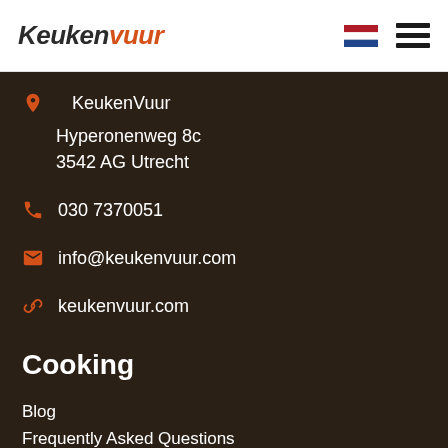KeukenVuur navigation bar with logo and flag/menu icons
KeukenVuur
Hyperonenweg 8c
3542 AG Utrecht
030 7370051
info@keukenvuur.com
keukenvuur.com
Cooking
Blog
Frequently Asked Questions